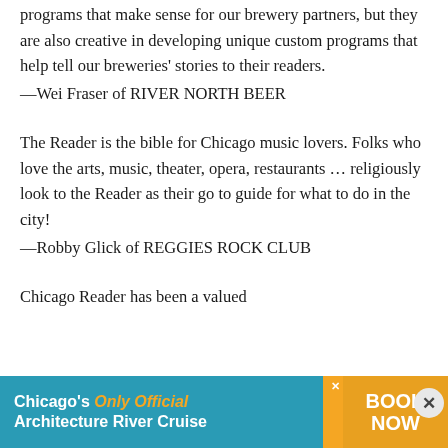programs that make sense for our brewery partners, but they are also creative in developing unique custom programs that help tell our breweries' stories to their readers.
—Wei Fraser of RIVER NORTH BEER
The Reader is the bible for Chicago music lovers. Folks who love the arts, music, theater, opera, restaurants … religiously look to the Reader as their go to guide for what to do in the city!
—Robby Glick of REGGIES ROCK CLUB
Chicago Reader has been a valued
[Figure (infographic): Advertisement banner: Chicago's Only Official Architecture River Cruise — BOOK NOW]